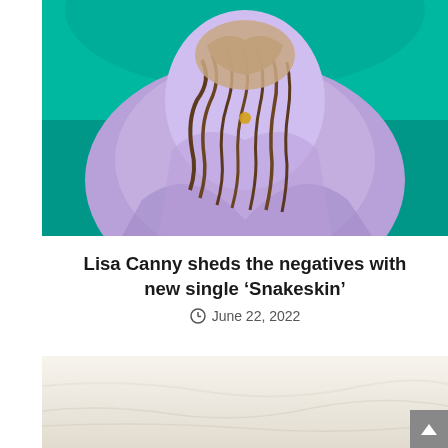[Figure (photo): A person wearing a flowing purple/lavender dress with braided hair, photographed against a teal/green background. The figure is partially cropped, showing mainly the torso and dress.]
Lisa Canny sheds the negatives with new single ‘Snakeskin’
June 22, 2022
[Figure (photo): Close-up of cream/off-white fabric with soft folds and draping texture.]